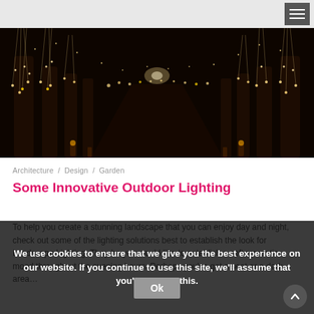[Figure (photo): Nighttime outdoor scene showing a pathway lined with trees draped in hanging warm white fairy lights, creating a tunnel-like canopy of lights receding into the distance.]
Architecture / Design / Garden
Some Innovative Outdoor Lighting
To help you create a stunning landscape that you can enjoy day and night, check out some of the lighting solutions best to establish the look for Landscape Lighting. They be you would like to establish a soft romantic mood throughout the evening hours. Perhaps you've got a seat or a dark area…
We use cookies to ensure that we give you the best experience on our website. If you continue to use this site, we'll assume that you're ok with this.